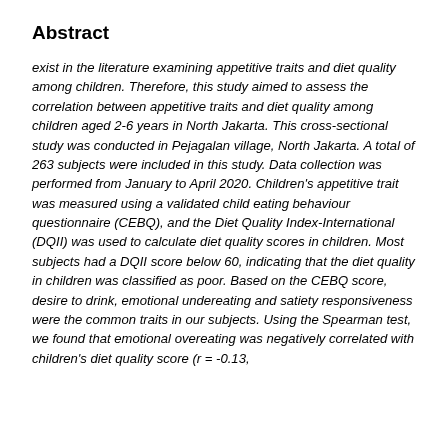Abstract
exist in the literature examining appetitive traits and diet quality among children. Therefore, this study aimed to assess the correlation between appetitive traits and diet quality among children aged 2-6 years in North Jakarta. This cross-sectional study was conducted in Pejagalan village, North Jakarta. A total of 263 subjects were included in this study. Data collection was performed from January to April 2020. Children's appetitive trait was measured using a validated child eating behaviour questionnaire (CEBQ), and the Diet Quality Index-International (DQII) was used to calculate diet quality scores in children. Most subjects had a DQII score below 60, indicating that the diet quality in children was classified as poor. Based on the CEBQ score, desire to drink, emotional undereating and satiety responsiveness were the common traits in our subjects. Using the Spearman test, we found that emotional overeating was negatively correlated with children's diet quality score (r = -0.13,